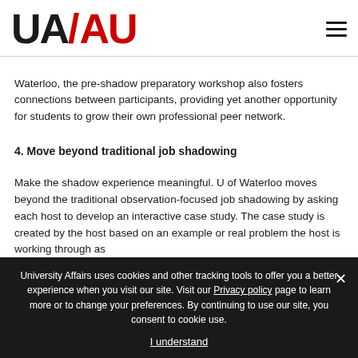UA/AU logo and navigation
Waterloo, the pre-shadow preparatory workshop also fosters connections between participants, providing yet another opportunity for students to grow their own professional peer network.
4. Move beyond traditional job shadowing
Make the shadow experience meaningful. U of Waterloo moves beyond the traditional observation-focused job shadowing by asking each host to develop an interactive case study. The case study is created by the host based on an example or real problem the host is working through as
University Affairs uses cookies and other tracking tools to offer you a better experience when you visit our site. Visit our Privacy policy page to learn more or to change your preferences. By continuing to use our site, you consent to cookie use.

I understand